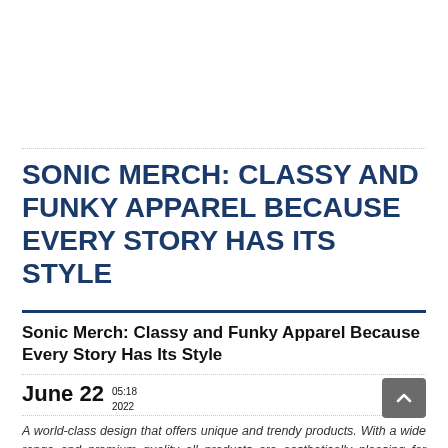SONIC MERCH: CLASSY AND FUNKY APPAREL BECAUSE EVERY STORY HAS ITS STYLE
Sonic Merch: Classy and Funky Apparel Because Every Story Has Its Style
June 22   05:18
2022
A world-class design that offers unique and trendy products. With a wide range and premium quality all products are aesthetically pleasing for everyday style.